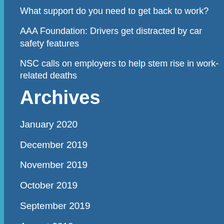What support do you need to get back to work?
AAA Foundation: Drivers get distracted by car safety features
NSC calls on employers to help stem rise in work-related deaths
Archives
January 2020
December 2019
November 2019
October 2019
September 2019
August 2019
July 2019